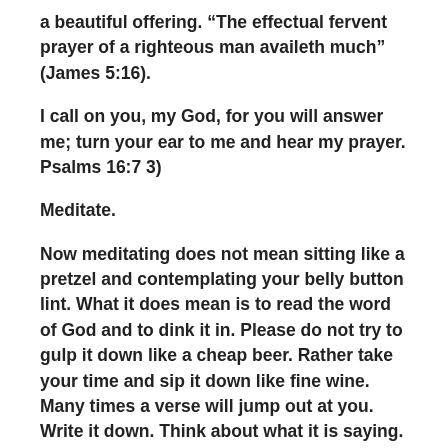a beautiful offering. “The effectual fervent prayer of a righteous man availeth much” (James 5:16).
I call on you, my God, for you will answer me; turn your ear to me and hear my prayer. Psalms 16:7 3)
Meditate.
Now meditating does not mean sitting like a pretzel and contemplating your belly button lint. What it does mean is to read the word of God and to dink it in. Please do not try to gulp it down like a cheap beer. Rather take your time and sip it down like fine wine. Many times a verse will jump out at you. Write it down. Think about what it is saying. Pray for God to open your eyes to the awesome wisdom He is revealing to you.